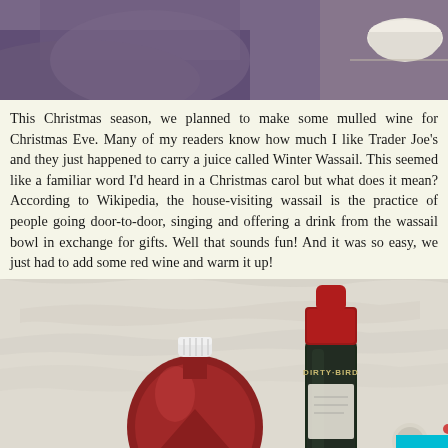[Figure (photo): Top photo showing a person in a purple/grey robe with a white bowl visible in the upper right corner]
This Christmas season, we planned to make some mulled wine for Christmas Eve. Many of my readers know how much I like Trader Joe's and they just happened to carry a juice called Winter Wassail. This seemed like a familiar word I'd heard in a Christmas carol but what does it mean? According to Wikipedia, the house-visiting wassail is the practice of people going door-to-door, singing and offering a drink from the wassail bowl in exchange for gifts. Well that sounds fun! And it was so easy, we just had to add some red wine and warm it up!
[Figure (photo): Photo of two bottles on a kitchen counter against a white textured wall: a round flat red juice bottle with white cap on the left, and a tall dark wine bottle with red label reading 'DIRTY BIRD' on the right. A scroll-to-top cyan button is in the bottom right corner.]